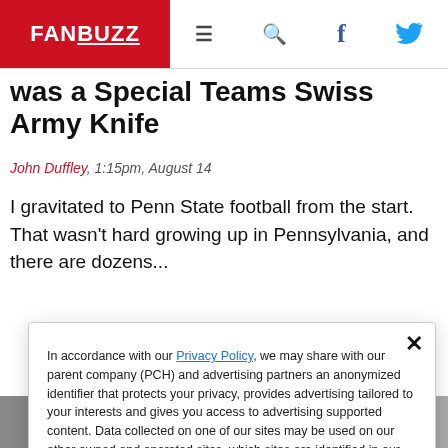FANBUZZ
was a Special Teams Swiss Army Knife
John Duffley, 1:15pm, August 14
I gravitated to Penn State football from the start. That wasn't hard growing up in Pennsylvania, and there are dozens...
In accordance with our Privacy Policy, we may share with our parent company (PCH) and advertising partners an anonymized identifier that protects your privacy, provides advertising tailored to your interests and gives you access to advertising supported content. Data collected on one of our sites may be used on our other owned and operated sites, which sites are identified in our Privacy Policy. All of our sites are governed by the same Privacy Policy, and by proceeding to access this site, you are consenting to that Privacy Policy.
[Figure (photo): Bottom strip showing two partial photos of people]